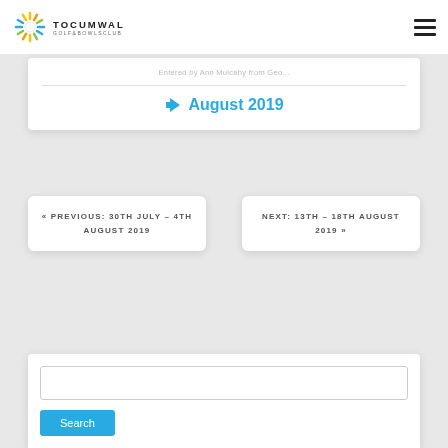TOCUMWAL GOLF & BOWLS CLUB
Entered by Ann Mulcahy from Geo...
August 2019
« PREVIOUS: 30TH JULY – 4TH AUGUST 2019
NEXT: 13TH – 18TH AUGUST 2019 »
Search